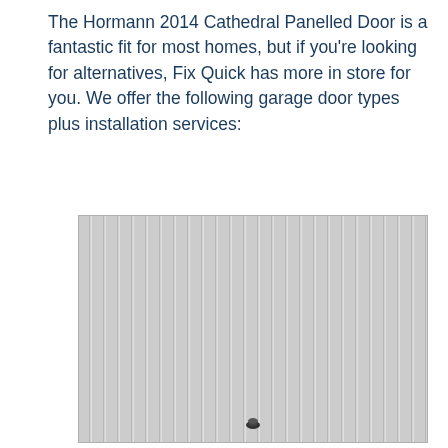The Hormann 2014 Cathedral Panelled Door is a fantastic fit for most homes, but if you're looking for alternatives, Fix Quick has more in store for you. We offer the following garage door types plus installation services:
[Figure (illustration): Illustration of a vertical ribbed/striped garage door (light grey) with a small central handle/lock near the bottom centre.]